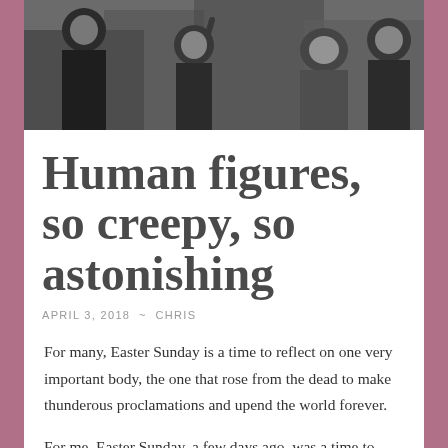[Figure (photo): Black and white photograph of a group of children and people, some appearing to be yelling or singing, with one child raising a finger.]
Human figures, so creepy, so astonishing
APRIL 3, 2018  ~  CHRIS
For many, Easter Sunday is a time to reflect on one very important body, the one that rose from the dead to make thunderous proclamations and upend the world forever.
For me, Easter Sunday, a few days ago, was a time to